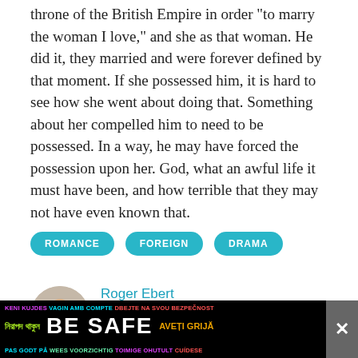throne of the British Empire in order "to marry the woman I love," and she as that woman. He did it, they married and were forever defined by that moment. If she possessed him, it is hard to see how she went about doing that. Something about her compelled him to need to be possessed. In a way, he may have forced the possession upon her. God, what an awful life it must have been, and how terrible that they may not have even known that.
ROMANCE
FOREIGN
DRAMA
Roger Ebert
Roger Ebert was the film critic of the Chicago Sun-Times from 1967 until his
[Figure (photo): Circular portrait photo of Roger Ebert]
[Figure (infographic): Black advertisement banner with multilingual 'BE SAFE' safety message in multiple languages and colors]